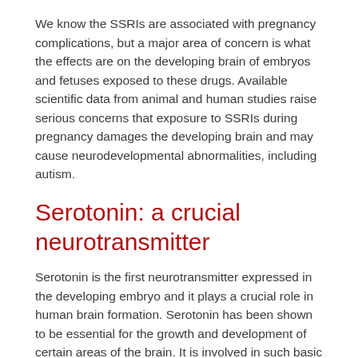We know the SSRIs are associated with pregnancy complications, but a major area of concern is what the effects are on the developing brain of embryos and fetuses exposed to these drugs. Available scientific data from animal and human studies raise serious concerns that exposure to SSRIs during pregnancy damages the developing brain and may cause neurodevelopmental abnormalities, including autism.
Serotonin: a crucial neurotransmitter
Serotonin is the first neurotransmitter expressed in the developing embryo and it plays a crucial role in human brain formation. Serotonin has been shown to be essential for the growth and development of certain areas of the brain. It is involved in such basic processes as cell division, differentiation